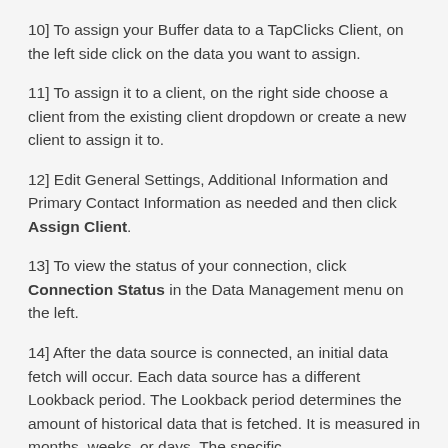10] To assign your Buffer data to a TapClicks Client, on the left side click on the data you want to assign.
11] To assign it to a client, on the right side choose a client from the existing client dropdown or create a new client to assign it to.
12] Edit General Settings, Additional Information and Primary Contact Information as needed and then click Assign Client.
13] To view the status of your connection, click Connection Status in the Data Management menu on the left.
14] After the data source is connected, an initial data fetch will occur. Each data source has a different Lookback period. The Lookback period determines the amount of historical data that is fetched. It is measured in months, weeks, or days. The specific